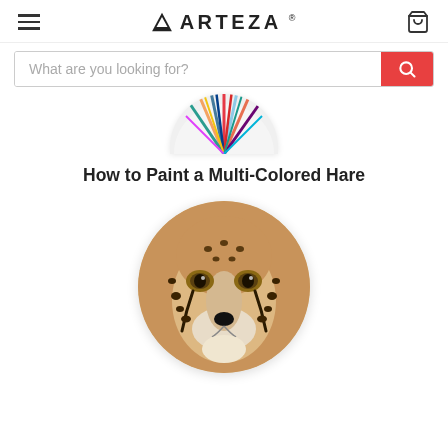ARTEZA
What are you looking for?
[Figure (photo): Partial circular image showing colorful paintbrush tips arranged in a burst pattern on a white background, cropped at bottom]
How to Paint a Multi-Colored Hare
[Figure (photo): Circular cropped close-up portrait of a cheetah face, showing detailed fur markings, dark tear stripes, amber eyes, and black nose on a white background]